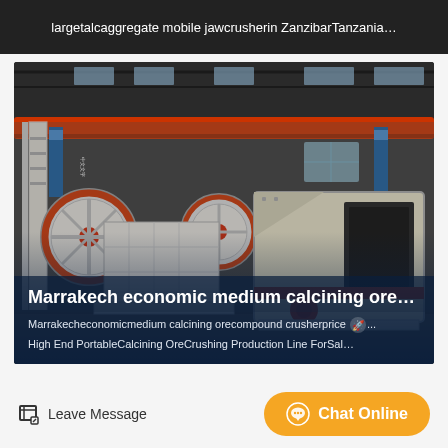largetalcaggregate mobile jawcrusherin ZanzibarTanzania…
[Figure (photo): Industrial factory floor showing large jaw crusher and impact crusher machines with orange accents, overhead orange crane beam, and blue banners in background under a steel roof structure.]
Marrakech economic medium calcining ore…
Marrakecheconomicmedium calcining orecompound crusherprice...
High End PortableCalcining OreCrushing Production Line ForSal…
Leave Message
Chat Online